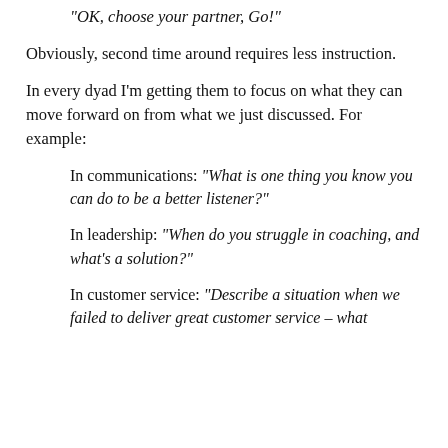“OK, choose your partner, Go!”
Obviously, second time around requires less instruction.
In every dyad I’m getting them to focus on what they can move forward on from what we just discussed. For example:
In communications: “What is one thing you know you can do to be a better listener?”
In leadership: “When do you struggle in coaching, and what’s a solution?”
In customer service: “Describe a situation when we failed to deliver great customer service – what